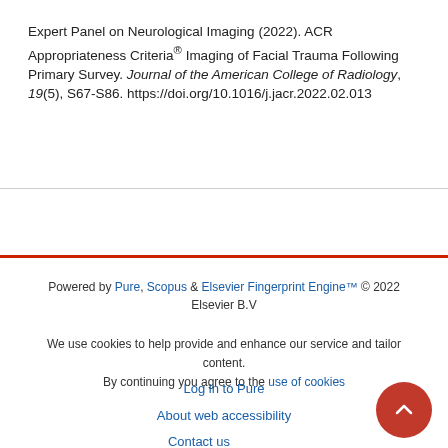Expert Panel on Neurological Imaging (2022). ACR Appropriateness Criteria® Imaging of Facial Trauma Following Primary Survey. Journal of the American College of Radiology, 19(5), S67-S86. https://doi.org/10.1016/j.jacr.2022.02.013
Powered by Pure, Scopus & Elsevier Fingerprint Engine™ © 2022 Elsevier B.V
We use cookies to help provide and enhance our service and tailor content. By continuing you agree to the use of cookies
Log in to Pure
About web accessibility
Contact us